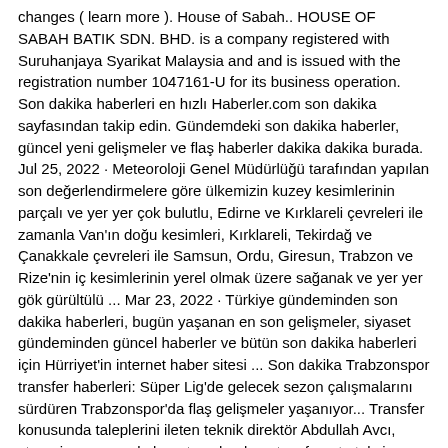changes ( learn more ). House of Sabah.. HOUSE OF SABAH BATIK SDN. BHD. is a company registered with Suruhanjaya Syarikat Malaysia and and is issued with the registration number 1047161-U for its business operation. Son dakika haberleri en hızlı Haberler.com son dakika sayfasından takip edin. Gündemdeki son dakika haberler, güncel yeni gelişmeler ve flaş haberler dakika dakika burada. Jul 25, 2022 · Meteoroloji Genel Müdürlüğü tarafından yapılan son değerlendirmelere göre ülkemizin kuzey kesimlerinin parçalı ve yer yer çok bulutlu, Edirne ve Kırklareli çevreleri ile zamanla Van'ın doğu kesimleri, Kırklareli, Tekirdağ ve Çanakkale çevreleri ile Samsun, Ordu, Giresun, Trabzon ve Rize'nin iç kesimlerinin yerel olmak üzere sağanak ve yer yer gök gürültülü ... Mar 23, 2022 · Türkiye gündeminden son dakika haberleri, bugün yaşanan en son gelişmeler, siyaset gündeminden güncel haberler ve bütün son dakika haberleri için Hürriyet'in internet haber sitesi ... Son dakika Trabzonspor transfer haberleri: Süper Lig'de gelecek sezon çalışmalarını sürdüren Trabzonspor'da flaş gelişmeler yaşanıyor... Transfer konusunda taleplerini ileten teknik direktör Abdullah Avcı, stoperin yanı sıra kale, orta saha, kanat ve forvete takviye talebini yeniledi. İşte tüm detaylar...SULTANGAZİ'de sabah saatlerinde daha önceden boşaltılan 3 katlı bir binanın en üst katındaki dairede yangın çıktı. Alevler kısa sürede tüm katı sararken, itfaiye ekipleri yangının diğer binalara sıçramaması için yoğun çaba harcadı. Binadaki daireden yükselen alevler, vatandaşların çektiği cep telefonu ...Oct